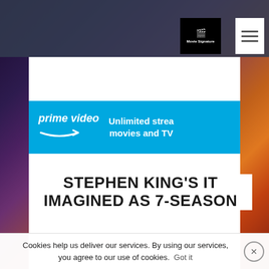[Figure (logo): Movie Signature website logo — black box with white text 'Movie Signature' and film reel icon, positioned in header]
[Figure (screenshot): Amazon Prime Video advertisement banner — cyan/blue background with 'prime video' logo and text 'Unlimited streaming of movies and TV']
STEPHEN KING'S IT IMAGINED AS 7-SEASON
Cookies help us deliver our services. By using our services, you agree to our use of cookies. Got it